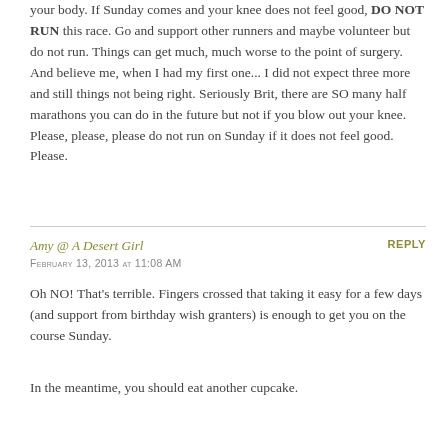your body. If Sunday comes and your knee does not feel good, DO NOT RUN this race. Go and support other runners and maybe volunteer but do not run. Things can get much, much worse to the point of surgery. And believe me, when I had my first one... I did not expect three more and still things not being right. Seriously Brit, there are SO many half marathons you can do in the future but not if you blow out your knee. Please, please, please do not run on Sunday if it does not feel good. Please.
Amy @ A Desert Girl
REPLY
February 13, 2013 at 11:08 AM
Oh NO! That's terrible. Fingers crossed that taking it easy for a few days (and support from birthday wish granters) is enough to get you on the course Sunday.
In the meantime, you should eat another cupcake.